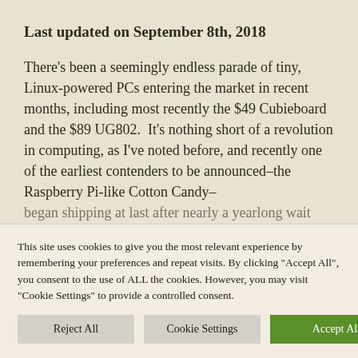Last updated on September 8th, 2018
There's been a seemingly endless parade of tiny, Linux-powered PCs entering the market in recent months, including most recently the $49 Cubieboard and the $89 UG802.  It's nothing short of a revolution in computing, as I've noted before, and recently one of the earliest contenders to be announced–the Raspberry Pi-like Cotton Candy–began shipping at last after nearly a yearlong wait
This site uses cookies to give you the most relevant experience by remembering your preferences and repeat visits. By clicking "Accept All", you consent to the use of ALL the cookies. However, you may visit "Cookie Settings" to provide a controlled consent.